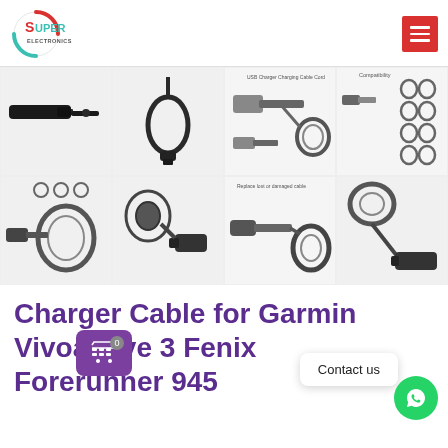[Figure (logo): Super Electronics logo — circular icon with red arc, teal arc, and 'SUPER ELECTRONICS' text]
[Figure (photo): Product image gallery grid showing Garmin USB charger cable from multiple angles: cable close-up, coiled cable, USB charger with watch diagrams, compatibility watch icons, cable with watch attached, cable connector detail, replacement cable with watch, cable with watch side view]
Charger Cable for Garmin Vivoactive 3 Fenix Forerunner 945